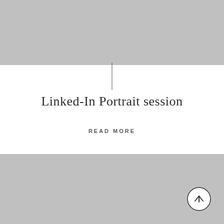[Figure (photo): Gray placeholder image at top of page]
Linked-In Portrait session
READ MORE
[Figure (photo): Gray placeholder image at bottom of page with a circular back-to-top button arrow in the bottom right corner]